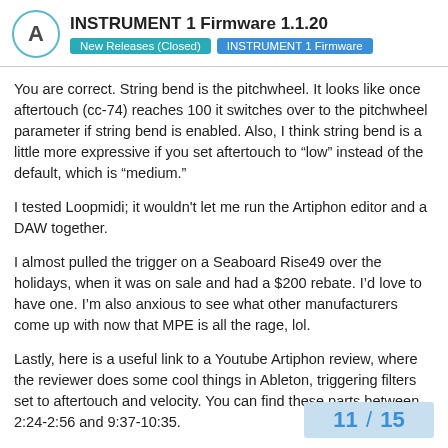INSTRUMENT 1 Firmware 1.1.20 | New Releases (Closed) | INSTRUMENT 1 Firmware
You are correct. String bend is the pitchwheel. It looks like once aftertouch (cc-74) reaches 100 it switches over to the pitchwheel parameter if string bend is enabled. Also, I think string bend is a little more expressive if you set aftertouch to “low” instead of the default, which is “medium.”
I tested Loopmidi; it wouldn't let me run the Artiphon editor and a DAW together.
I almost pulled the trigger on a Seaboard Rise49 over the holidays, when it was on sale and had a $200 rebate. I’d love to have one. I’m also anxious to see what other manufacturers come up with now that MPE is all the rage, lol.
Lastly, here is a useful link to a Youtube Artiphon review, where the reviewer does some cool things in Ableton, triggering filters set to aftertouch and velocity. You can find these parts between 2:24-2:56 and 9:37-10:35.
11 / 15